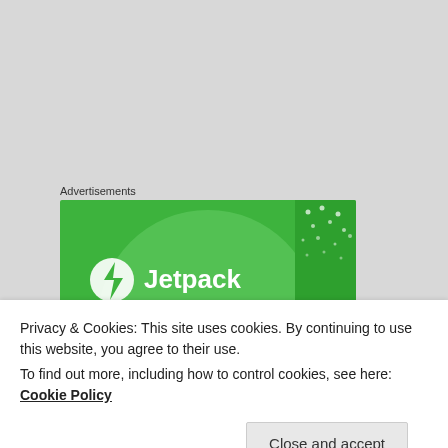Advertisements
[Figure (logo): Jetpack advertisement banner — green background with Jetpack logo and lightning bolt icon]
HEMAD NAZARI
March 1, 2017 at 12:04 pm
Privacy & Cookies: This site uses cookies. By continuing to use this website, you agree to their use.
To find out more, including how to control cookies, see here: Cookie Policy
Close and accept
some agencies in Iran, all are talking about booked